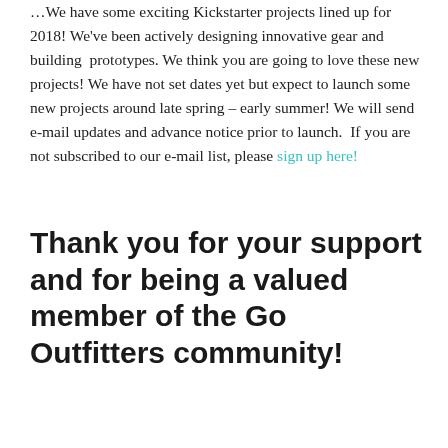…We have some exciting Kickstarter projects lined up for 2018! We've been actively designing innovative gear and building prototypes. We think you are going to love these new projects! We have not set dates yet but expect to launch some new projects around late spring – early summer! We will send e-mail updates and advance notice prior to launch. If you are not subscribed to our e-mail list, please sign up here!
Thank you for your support and for being a valued member of the Go Outfitters community!